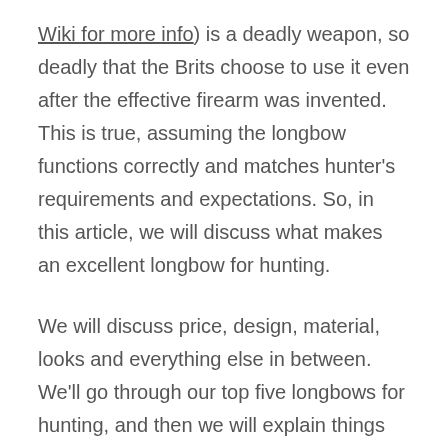Wiki for more info) is a deadly weapon, so deadly that the Brits choose to use it even after the effective firearm was invented. This is true, assuming the longbow functions correctly and matches hunter's requirements and expectations. So, in this article, we will discuss what makes an excellent longbow for hunting.
We will discuss price, design, material, looks and everything else in between. We'll go through our top five longbows for hunting, and then we will explain things you should pay attention to when